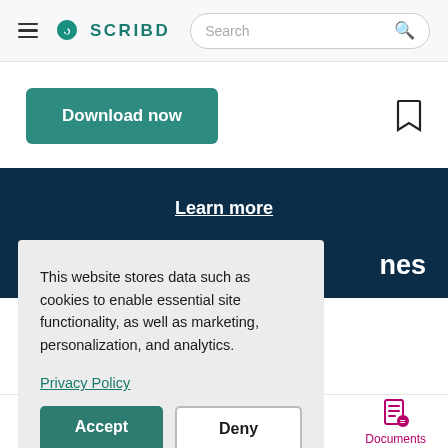SCRIBD [Search bar] [hamburger menu]
Download now
Learn more
This website stores data such as cookies to enable essential site functionality, as well as marketing, personalization, and analytics.
Privacy Policy
Accept
Deny
Documents